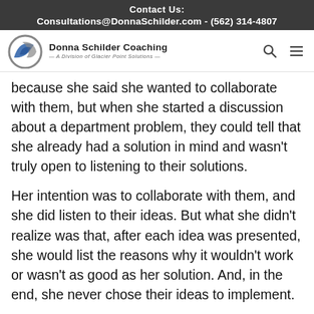Contact Us:
Consultations@DonnaSchilder.com - (562) 314-4807
[Figure (logo): Donna Schilder Coaching logo — A Division of Glacier Point Solutions]
because she said she wanted to collaborate with them, but when she started a discussion about a department problem, they could tell that she already had a solution in mind and wasn't truly open to listening to their solutions.
Her intention was to collaborate with them, and she did listen to their ideas. But what she didn't realize was that, after each idea was presented, she would list the reasons why it wouldn't work or wasn't as good as her solution. And, in the end, she never chose their ideas to implement.